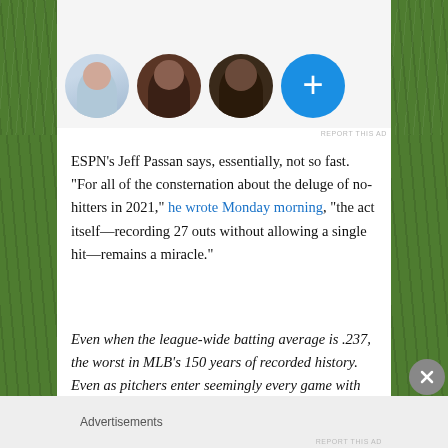[Figure (photo): Three circular avatar photos of people and a blue circular plus button arranged in a row at the top of the content area, with a green grass-textured background on either side.]
REPORT THIS AD
ESPN’s Jeff Passan says, essentially, not so fast. “For all of the consternation about the deluge of no-hitters in 2021,” he wrote Monday morning, “the act itself—recording 27 outs without allowing a single hit—remains a miracle.”
Even when the league-wide batting average is .237, the worst in MLB’s 150 years of recorded history. Even as pitchers enter seemingly every game with an overwhelming advantage against hitters. Even with the ball deadened and the fielding slick and our senses now conditioned to expect something that, entering this season, had been accomplished only 305 times in more
Advertisements